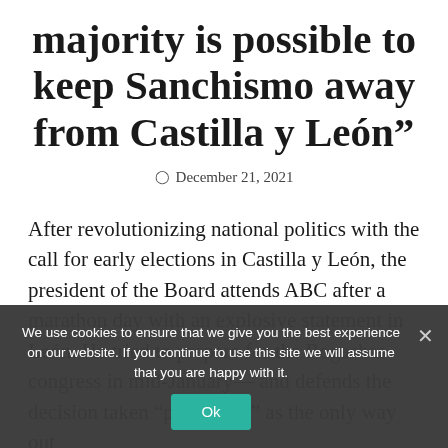majority is possible to keep Sanchismo away from Castilla y León”
December 21, 2021
After revolutionizing national politics with the call for early elections in Castilla y León, the president of the Board attends ABC after a marathon day with an explosive statement in León. He tried to prepare for the Rogashas congress in mid-January— and defends the decision taken “personally” as the only way out
We use cookies to ensure that we give you the best experience on our website. If you continue to use this site we will assume that you are happy with it.